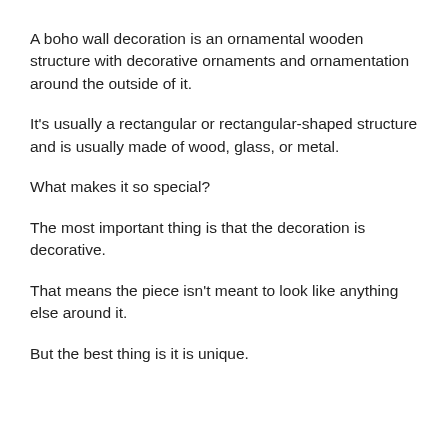A boho wall decoration is an ornamental wooden structure with decorative ornaments and ornamentation around the outside of it.
It's usually a rectangular or rectangular-shaped structure and is usually made of wood, glass, or metal.
What makes it so special?
The most important thing is that the decoration is decorative.
That means the piece isn't meant to look like anything else around it.
But the best thing is it is unique.